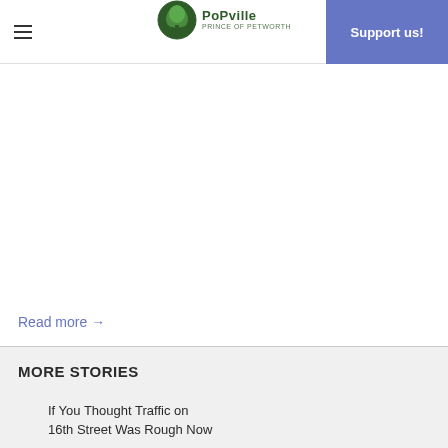PoPville — Support us!
Read more →
MORE STORIES
If You Thought Traffic on 16th Street Was Rough Now